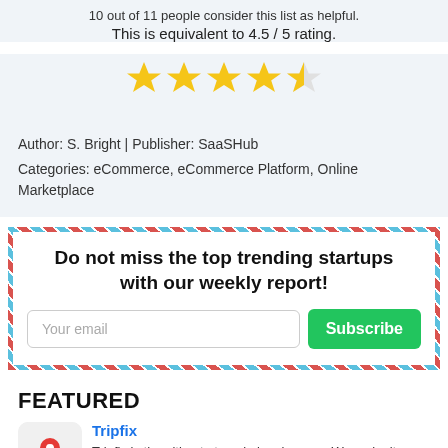10 out of 11 people consider this list as helpful.
This is equivalent to 4.5 / 5 rating.
[Figure (other): Star rating showing 4.5 out of 5 stars — four full gold stars and one half gold star]
Author: S. Bright | Publisher: SaaSHub
Categories: eCommerce, eCommerce Platform, Online Marketplace
Do not miss the top trending startups with our weekly report!
Your email
Subscribe
FEATURED
Tripfix
Tripfix is the ultimate travel planning app. We make it easy